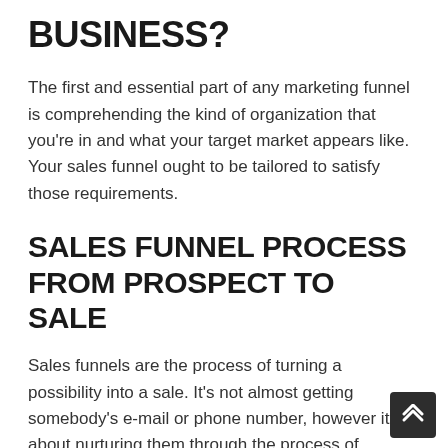BUSINESS?
The first and essential part of any marketing funnel is comprehending the kind of organization that you're in and what your target market appears like. Your sales funnel ought to be tailored to satisfy those requirements.
SALES FUNNEL PROCESS FROM PROSPECT TO SALE
Sales funnels are the process of turning a possibility into a sale. It's not almost getting somebody's e-mail or phone number, however it is about nurturing them through the process of becoming your consumer.
A sales funnel starts when someone sees your organization online and ends up being interested in